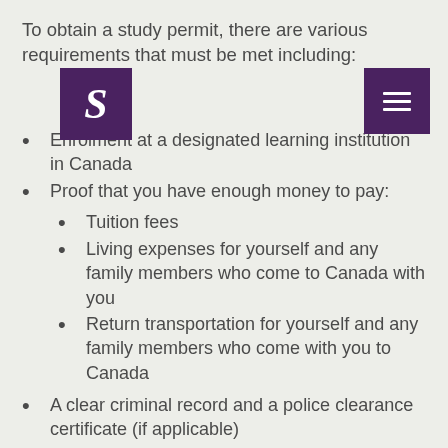To obtain a study permit, there are various requirements that must be met including:
Enrolment at a designated learning institution in Canada
Proof that you have enough money to pay:
Tuition fees
Living expenses for yourself and any family members who come to Canada with you
Return transportation for yourself and any family members who come with you to Canada
A clear criminal record and a police clearance certificate (if applicable)
Proof you are in good health, along with a medical exam (if required)